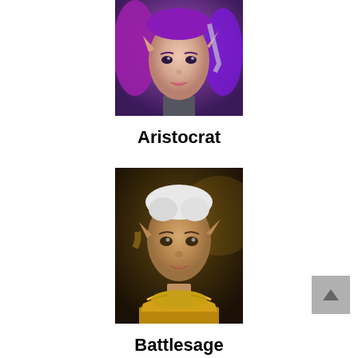[Figure (illustration): Fantasy elf female character portrait with purple hair and pointed ears, armor visible]
Aristocrat
[Figure (illustration): Fantasy elf female character portrait with short white hair and golden armor collar]
Battlesage